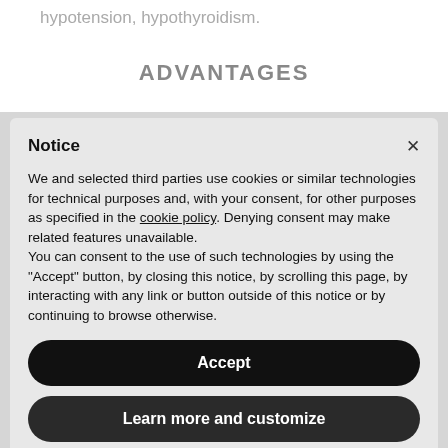hypotension, hypothyroidism.
ADVANTAGES
Notice
We and selected third parties use cookies or similar technologies for technical purposes and, with your consent, for other purposes as specified in the cookie policy. Denying consent may make related features unavailable.
You can consent to the use of such technologies by using the "Accept" button, by closing this notice, by scrolling this page, by interacting with any link or button outside of this notice or by continuing to browse otherwise.
Accept
Learn more and customize